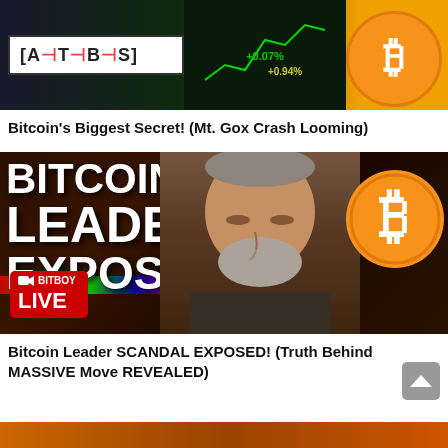[Figure (screenshot): YouTube thumbnail showing ATBS logo with arrow pointing to stock chart and Bitcoin coin on orange background]
Bitcoin's Biggest Secret! (Mt. Gox Crash Looming)
[Figure (screenshot): YouTube thumbnail with text BITCOIN LEADER EXPOSED? overlaid on a man's face with Bitcoin logo, BitBoy LIVE badge in bottom left]
Bitcoin Leader SCANDAL EXPOSED! (Truth Behind MASSIVE Move REVEALED)